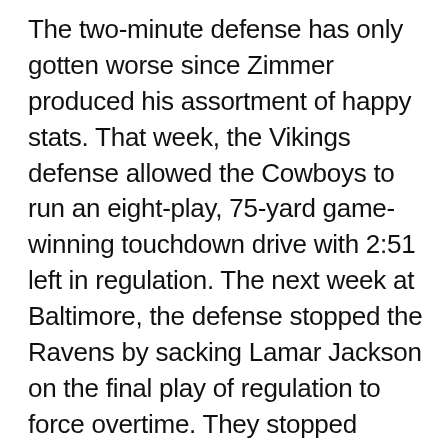The two-minute defense has only gotten worse since Zimmer produced his assortment of happy stats. That week, the Vikings defense allowed the Cowboys to run an eight-play, 75-yard game-winning touchdown drive with 2:51 left in regulation. The next week at Baltimore, the defense stopped the Ravens by sacking Lamar Jackson on the final play of regulation to force overtime. They stopped Baltimore's offense again on the first drive of overtime when Anthony Barr picked off Jackson, but ultimately allowed Justin Tucker a game-winning 36-yard field goal on the Ravens' second drive of overtime. The Vikings beat the Packers in Week 11 with a field goal in the final two seconds, but the defense first allowed Aaron Rodgers to tie up the game on a one-play drive: a 75-yard touchdown pass to receiver Marquez Valdes-Scantling with 2:17 left.